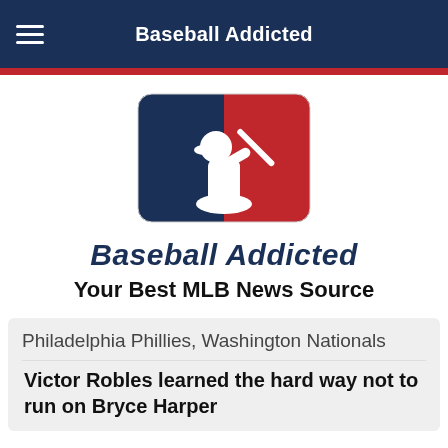Baseball Addicted
[Figure (logo): MLB logo — stylized batter silhouette in white on blue and red background with rounded corners]
Baseball Addicted
Your Best MLB News Source
Philadelphia Phillies, Washington Nationals
Victor Robles learned the hard way not to run on Bryce Harper